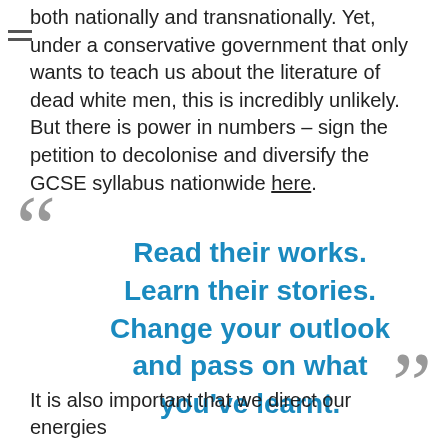both nationally and transnationally. Yet, under a conservative government that only wants to teach us about the literature of dead white men, this is incredibly unlikely. But there is power in numbers – sign the petition to decolonise and diversify the GCSE syllabus nationwide here.
“Read their works. Learn their stories. Change your outlook and pass on what you’ve learnt.”
It is also important that we direct our energies